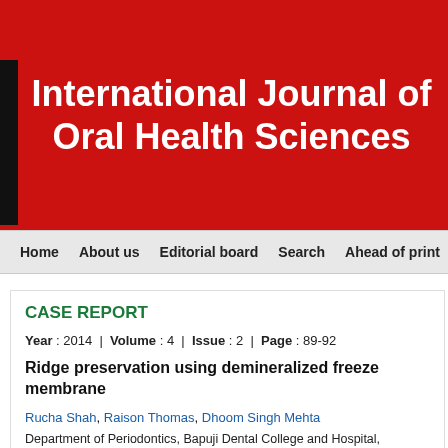International Journal of Oral Health Sciences
Home  About us  Editorial board  Search  Ahead of print  Cur
CASE REPORT
Year : 2014  |  Volume : 4  |  Issue : 2  |  Page : 89-92
Ridge preservation using demineralized freeze membrane
Rucha Shah, Raison Thomas, Dhoom Singh Mehta
Department of Periodontics, Bapuji Dental College and Hospital, Davangere, Karnataka